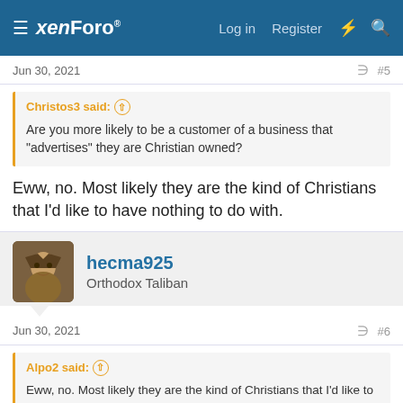xenForo — Log in  Register
Jun 30, 2021  #5
Christos3 said: ↑
Are you more likely to be a customer of a business that "advertises" they are Christian owned?
Eww, no. Most likely they are the kind of Christians that I'd like to have nothing to do with.
[Figure (photo): User avatar for hecma925 — illustrated figure]
hecma925
Orthodox Taliban
Jun 30, 2021  #6
Alpo2 said: ↑
Eww, no. Most likely they are the kind of Christians that I'd like to have nothing to do with.